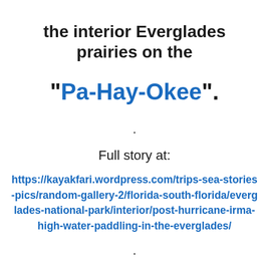the interior Everglades prairies on the
“Pa-Hay-Okee”.
.
Full story at:
https://kayakfari.wordpress.com/trips-sea-stories-pics/random-gallery-2/florida-south-florida/everglades-national-park/interior/post-hurricane-irma-high-water-paddling-in-the-everglades/
.